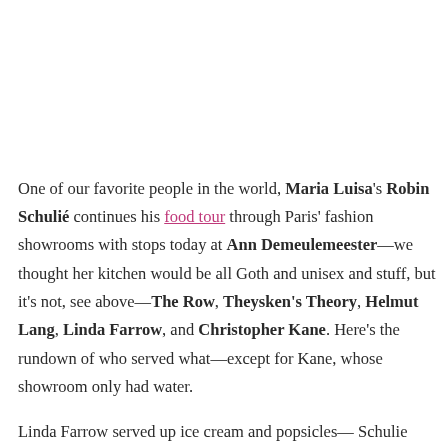One of our favorite people in the world, Maria Luisa's Robin Schulié continues his food tour through Paris' fashion showrooms with stops today at Ann Demeulemeester—we thought her kitchen would be all Goth and unisex and stuff, but it's not, see above—The Row, Theysken's Theory, Helmut Lang, Linda Farrow, and Christopher Kane. Here's the rundown of who served what—except for Kane, whose showroom only had water.
Linda Farrow served up ice cream and popsicles— Schulie